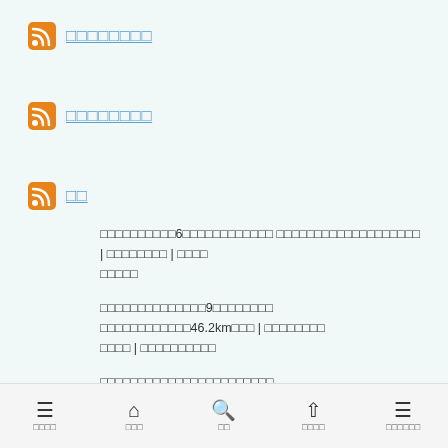□□□□□□□□
□□□□□□□□
□□
□□□□□□□□□□6□□□□□□□□□□□□ □□□□□□□□□□□□□□□□□□□ | □□□□□□□□ | □□□□□□□□□
□□□□□□□□□□□□□□9□□□□□□□□ □□□□□□□□□□□□46.2km□□□ | □□□□□□□□□□□□ | □□□□□□□□□□
□□□□□□□□□□□□□□□□□□□□□□□ □□□□400□□□□□□□1300□□□□□□□□□□ | □□□□
□□□□□  □□□  □□  □□□□  □□□□□□